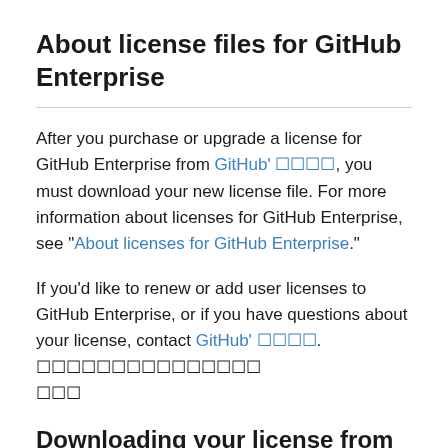About license files for GitHub Enterprise
After you purchase or upgrade a license for GitHub Enterprise from GitHub' 販売, you must download your new license file. For more information about licenses for GitHub Enterprise, see "About licenses for GitHub Enterprise."
If you'd like to renew or add user licenses to GitHub Enterprise, or if you have questions about your license, contact GitHub' 販売. ライセンスの購入または更新については、 営業部
Downloading your license from GitHub.com